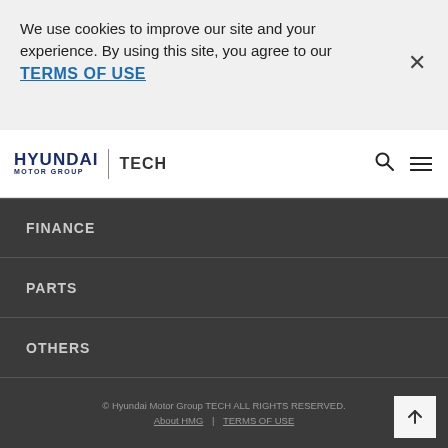We use cookies to improve our site and your experience. By using this site, you agree to our TERMS OF USE
[Figure (logo): Hyundai Motor Group TECH logo with search and menu icons]
FINANCE
PARTS
OTHERS
© Hyundai Motor Group TECH ALL RIGHTS RESERVED. About HMG | TERMS OF USE